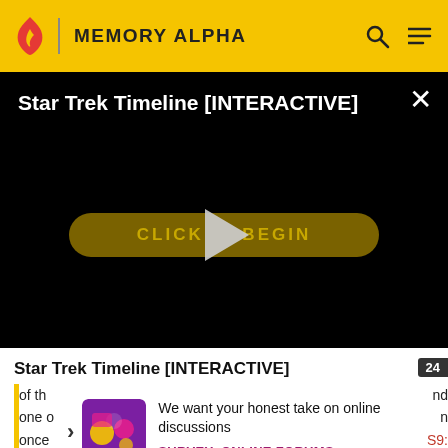MEMORY ALPHA
[Figure (screenshot): Video player showing Star Trek Timeline [INTERACTIVE] with a play button over a dark background and a yellow 'CLICK TO BEGIN' button]
Star Trek Timeline [INTERACTIVE]
We want your honest take on online discussions
SURVEY: ONLINE FORUMS